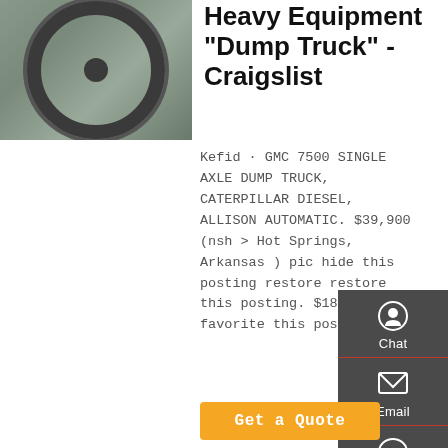[Figure (photo): Interior photo of a truck cab showing steering wheel and dashboard]
Heavy Equipment "Dump Truck" - Craigslist
Kefid · GMC 7500 SINGLE AXLE DUMP TRUCK, CATERPILLAR DIESEL, ALLISON AUTOMATIC. $39,900 (nsh > Hot Springs, Arkansas ) pic hide this posting restore restore this posting. $18,900. favorite this post Jan 11.
Chat
Email
Contact
Top
Get a Quote